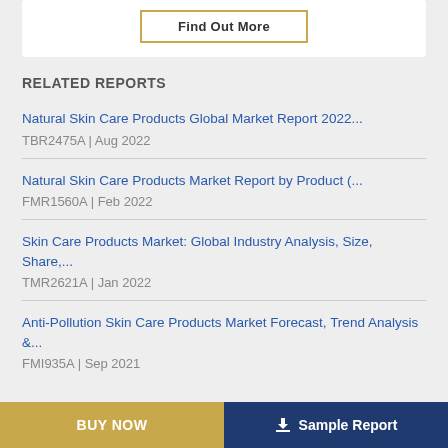RELATED REPORTS
Natural Skin Care Products Global Market Report 2022...
TBR2475A | Aug 2022
Natural Skin Care Products Market Report by Product (...
FMR1560A | Feb 2022
Skin Care Products Market: Global Industry Analysis, Size, Share,...
TMR2621A | Jan 2022
Anti-Pollution Skin Care Products Market Forecast, Trend Analysis &...
FMI935A | Sep 2021
BUY NOW   Sample Report